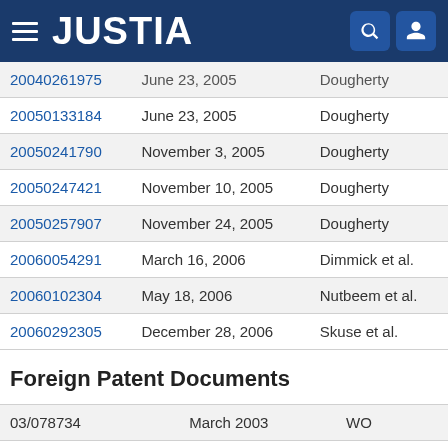JUSTIA
| Patent No. | Date | Inventor |
| --- | --- | --- |
| 20050133184 | June 23, 2005 | Dougherty |
| 20050241790 | November 3, 2005 | Dougherty |
| 20050247421 | November 10, 2005 | Dougherty |
| 20050257907 | November 24, 2005 | Dougherty |
| 20060054291 | March 16, 2006 | Dimmick et al. |
| 20060102304 | May 18, 2006 | Nutbeem et al. |
| 20060292305 | December 28, 2006 | Skuse et al. |
Foreign Patent Documents
| Patent No. | Date | Country |
| --- | --- | --- |
| 03/078734 | March 2003 | WO |